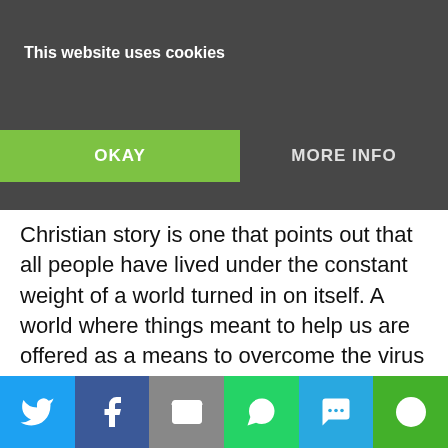[Figure (screenshot): Cookie consent banner overlay on a dark background with 'This website uses cookies' text, a green OKAY button, and a MORE INFO button]
as we now live it, the message keeps coming back that… in these times, we have sought unity in the… the time of a pandemic by … in this together. But, the Christian story is one that points out that all people have lived under the constant weight of a world turned in on itself. A world where things meant to help us are offered as a means to overcome the virus while at the same time risking our very lives. And, the Christian story is talking about the virus that is described as Sin and Death.
In our current experience, we have all had some firsthand experience as exiles. Think about it from the standpoint of those you know whose working lives, before retirement, years ago, was characterized by
[Figure (infographic): Social sharing bar with buttons for Twitter, Facebook, Email, WhatsApp, SMS, and a share/more icon]